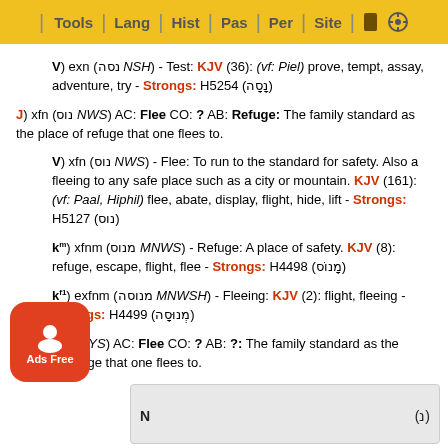Tools | Lang | Hist | Pas | Per | Site
V) exn (נסה NSH) - Test: KJV (36): (vf: Piel) prove, tempt, assay, adventure, try - Strongs: H5254 (נָסָה)
J) xfn (נוס NWS) AC: Flee CO: ? AB: Refuge: The family standard as the place of refuge that one flees to.
V) xfn (נוס NWS) - Flee: To run to the standard for safety. Also a fleeing to any safe place such as a city or mountain. KJV (161): (vf: Paal, Hiphil) flee, abate, display, flight, hide, lift - Strongs: H5127 (נוס)
km) xfnm (מנוס MNWS) - Refuge: A place of safety. KJV (8): refuge, escape, flight, flee - Strongs: H4498 (מָנוֹס)
kf1) exfnm (מנוסה MNWSH) - Fleeing: KJV (2): flight, fleeing - Strongs: H4499 (מְנוּסָה)
M) xin (ניס NYS) AC: Flee CO: ? AB: ?: The family standard as the place of refuge that one flees to.
N ... (נ)